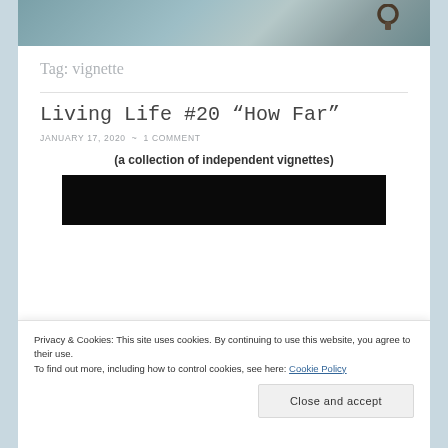[Figure (photo): Top portion of a close-up photo showing a rusty metal ring/hook against a blurred background]
Tag: vignette
Living Life #20 “How Far”
JANUARY 17, 2020  ~  1 COMMENT
(a collection of independent vignettes)
[Figure (photo): Dark/black image, partial view of a photo]
Privacy & Cookies: This site uses cookies. By continuing to use this website, you agree to their use.
To find out more, including how to control cookies, see here: Cookie Policy
Close and accept